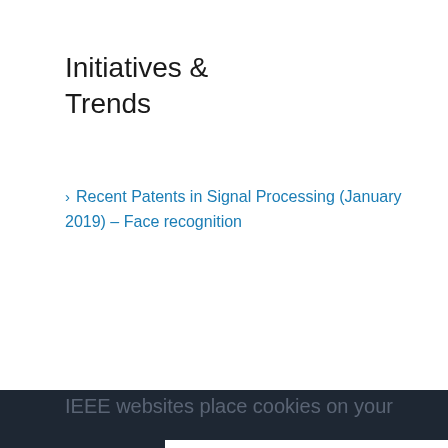Initiatives & Trends
Recent Patents in Signal Processing (January 2019) – Face recognition
IEEE websites place cookies on your device to give you the best user experience. By using our websites, you agree to the placement of these cookies. To learn more, read our Privacy Policy.

We won't track your information when you visit our site. But in order to comply with your preferences, we'll have to use just one tiny cookie so that you're not asked to make this choice again.